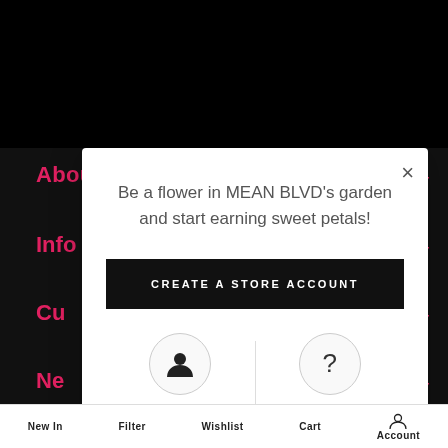About Us
Info
Cu
Ne
[Figure (screenshot): Modal popup on a dark e-commerce website background. The modal contains promotional text 'Be a flower in MEAN BLVD's garden and start earning sweet petals!', a 'CREATE A STORE ACCOUNT' button, and two icon actions: LOG IN (person icon) and LEARN MORE (question mark icon). Background shows navigation links in pink: About Us, Info, Cu, Ne with plus icons.]
Be a flower in MEAN BLVD's garden and start earning sweet petals!
CREATE A STORE ACCOUNT
LOG IN
LEARN MORE
New In   Filter   Wishlist   Cart   Account